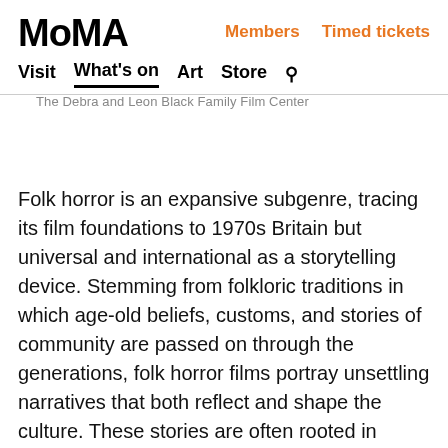MoMA | Members | Timed tickets | Visit | What's on | Art | Store
The Debra and Leon Black Family Film Center
Folk horror is an expansive subgenre, tracing its film foundations to 1970s Britain but universal and international as a storytelling device. Stemming from folkloric traditions in which age-old beliefs, customs, and stories of community are passed on through the generations, folk horror films portray unsettling narratives that both reflect and shape the culture. These stories are often rooted in nature and isolation, imbued with spiritual resonance, and related to powers of darkness: ghost stories, places unfamiliar, and horrors lurking just beneath the